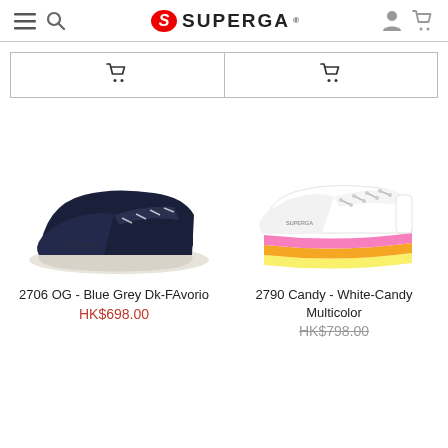SUPERGA
[Figure (screenshot): Superga product listing page showing two sneakers with add-to-cart buttons]
2706 OG - Blue Grey Dk-FAvorio
HK$698.00
2790 Candy - White-Candy Multicolor
HK$798.00